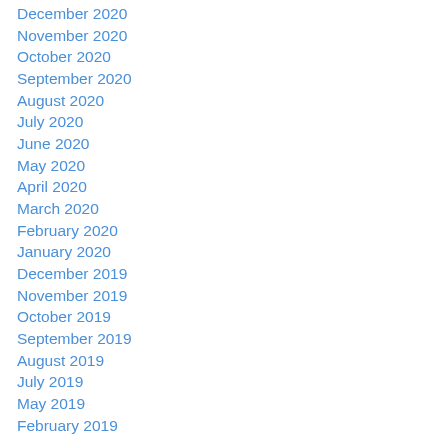December 2020
November 2020
October 2020
September 2020
August 2020
July 2020
June 2020
May 2020
April 2020
March 2020
February 2020
January 2020
December 2019
November 2019
October 2019
September 2019
August 2019
July 2019
May 2019
February 2019